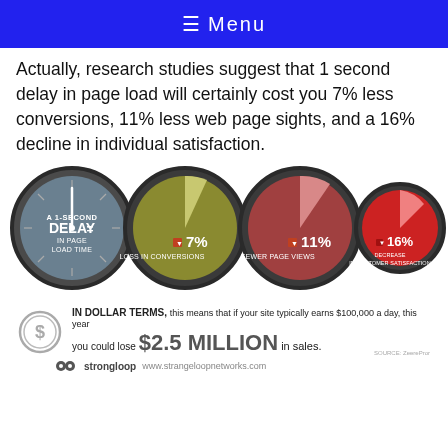≡ Menu
Actually, research studies suggest that 1 second delay in page load will certainly cost you 7% less conversions, 11% less web page sights, and a 16% decline in individual satisfaction.
[Figure (infographic): Infographic showing a 1-second delay in page load time equals 7% loss in conversions (pie chart), 11% fewer page views (pie chart), and 16% decrease in customer satisfaction (pie chart), represented as circular gauges/pie charts. Below: In dollar terms, this means that if your site typically earns $100,000 a day, this year you could lose $2.5 MILLION in sales. Source: Zoompf. Strongloop logo and www.strangeloopnetworks.com.]